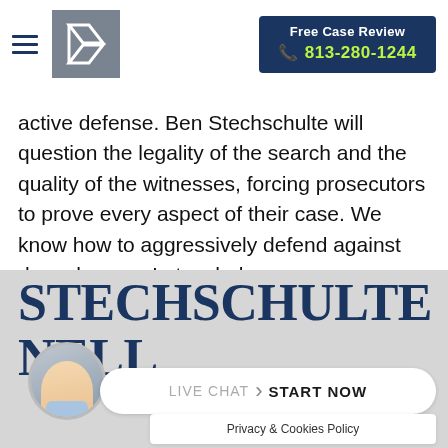Free Case Review | 813-280-1244
active defense. Ben Stechschulte will question the legality of the search and the quality of the witnesses, forcing prosecutors to prove every aspect of their case. We know how to aggressively defend against drug charges. Let us help.
STECHSCHULTE NELL
LIVE CHAT › START NOW
Privacy & Cookies Policy